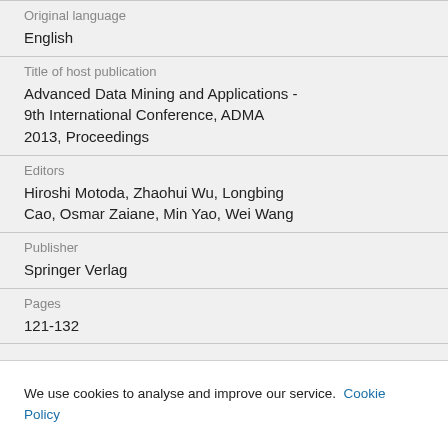Original language
English
Title of host publication
Advanced Data Mining and Applications - 9th International Conference, ADMA 2013, Proceedings
Editors
Hiroshi Motoda, Zhaohui Wu, Longbing Cao, Osmar Zaiane, Min Yao, Wei Wang
Publisher
Springer Verlag
Pages
121-132
We use cookies to analyse and improve our service. Cookie Policy